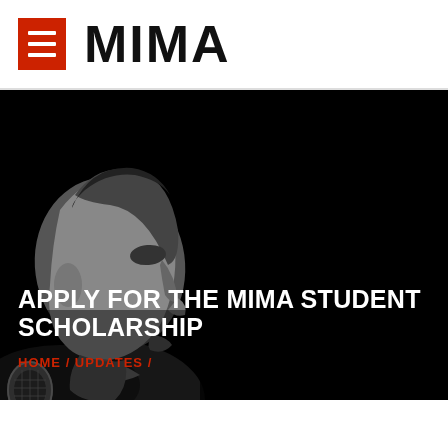MIMA
[Figure (photo): Black and white photo of a man in profile facing right, with a microphone in the lower left corner, against a dark/black background. Used as hero banner image.]
APPLY FOR THE MIMA STUDENT SCHOLARSHIP
HOME / UPDATES /